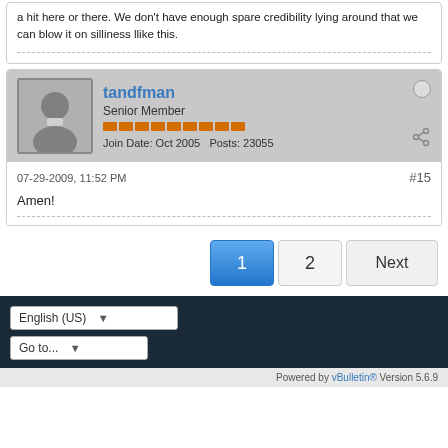a hit here or there. We don't have enough spare credibility lying around that we can blow it on silliness llike this.
tandfman
Senior Member
Join Date: Oct 2005   Posts: 23055
07-29-2009, 11:52 PM
#15
Amen!
1  2  Next
English (US)
Go to...
Powered by vBulletin® Version 5.6.9